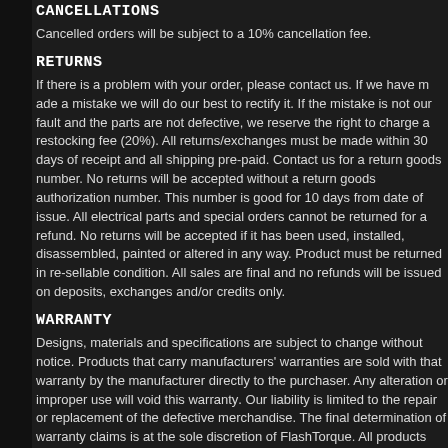CANCELLATIONS
Cancelled orders will be subject to a 10% cancellation fee.
RETURNS
If there is a problem with your order, please contact us. If we have made a mistake we will do our best to rectify it. If the mistake is not our fault and the parts are not defective, we reserve the right to charge a restocking fee (20%). All returns/exchanges must be made within 30 days of receipt and all shipping pre-paid. Contact us for a return goods number. No returns will be accepted without a return goods authorization number. This number is good for 10 days from date of issue. All electrical parts and special orders cannot be returned for a refund. No returns will be accepted if it has been used, installed, disassembled, painted or altered in any way. Product must be returned in re-sellable condition. All sales are final and no refunds will be issued on deposits, exchanges and/or credits only.
WARRANTY
Designs, materials and specifications are subject to change without notice. Products that carry manufacturers' warranties are sold with that warranty by the manufacturer directly to the purchaser. Any alteration or improper use will void this warranty. Our liability is limited to the repair or replacement of the defective merchandise. The final determination of warranty claims is at the sole discretion of FlashTorque. All products are sold without warranties unless otherwise noted. The entire risk is with the buyer. Should such a product prove defective, buyer assumes the entire cost of all necessary repairs. FlashTorque makes no warranty or promise with respect to the quality or anticipated performance of the products listed. In the event a product is listed at an incorrect price due to typographical error or erroneous information from our subcontractors or suppliers, FlashTorque shall have the right to refuse or cancel any orders placed for product listed at the incorrect price. FlashTorque reserves the right to refuse or cancel any such orders whether or not the order has been confirmed.